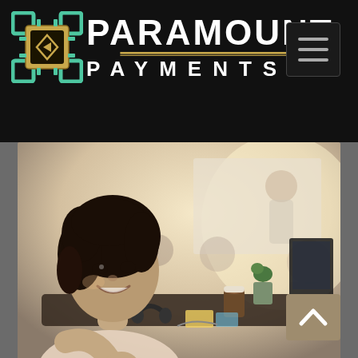[Figure (logo): Paramount Payments logo with chip icon on black navigation bar with hamburger menu]
[Figure (photo): Office meeting scene: young Black woman smiling and resting chin on hand in foreground, colleagues and a person at whiteboard in the blurred background, items on desk including headphones, coffee cup, laptop, and plant]
[Figure (other): Back-to-top navigation button with upward chevron arrow, tan/gold colored, bottom-right corner]